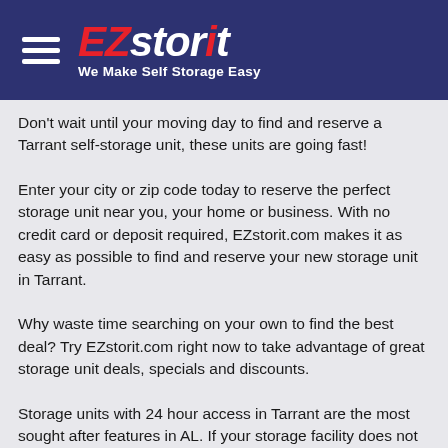EZstorit — We Make Self Storage Easy
Don't wait until your moving day to find and reserve a Tarrant self-storage unit, these units are going fast!
Enter your city or zip code today to reserve the perfect storage unit near you, your home or business. With no credit card or deposit required, EZstorit.com makes it as easy as possible to find and reserve your new storage unit in Tarrant.
Why waste time searching on your own to find the best deal? Try EZstorit.com right now to take advantage of great storage unit deals, specials and discounts.
Storage units with 24 hour access in Tarrant are the most sought after features in AL. If your storage facility does not offer 24 hour access units, talk to the manager and see if he/she can make an exception, you have nothing to lose.
Storage units rentals in Tarrant, AL are on the rise and if you are running out of extra space storage in your home, you need to act fast!